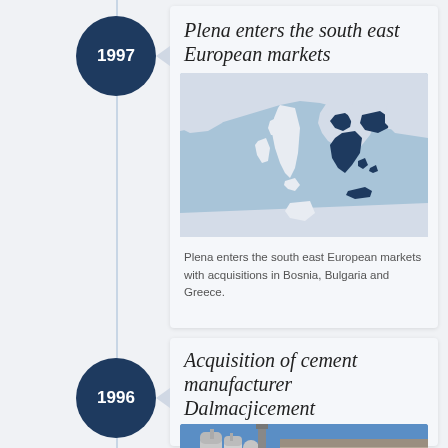Plena enters the south east European markets
[Figure (map): Map showing south east European countries highlighted in dark navy blue including Bosnia, Bulgaria, and Greece, with surrounding Mediterranean region in light blue/grey]
Plena enters the south east European markets with acquisitions in Bosnia, Bulgaria and Greece.
Acquisition of cement manufacturer Dalmacjicement
[Figure (photo): Industrial photo of cement manufacturing facility, showing silos and industrial structures against a blue sky]